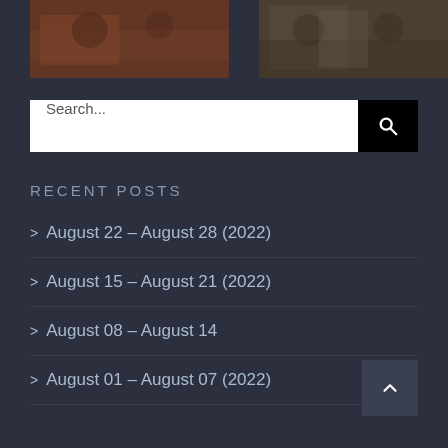[Figure (photo): Two partial photo thumbnails at top: left shows people at a table with plaid tablecloth, right shows people standing with a framed picture]
Search...
Recent Posts
> August 22 – August 28 (2022)
> August 15 – August 21 (2022)
> August 08 – August 14
> August 01 – August 07 (2022)